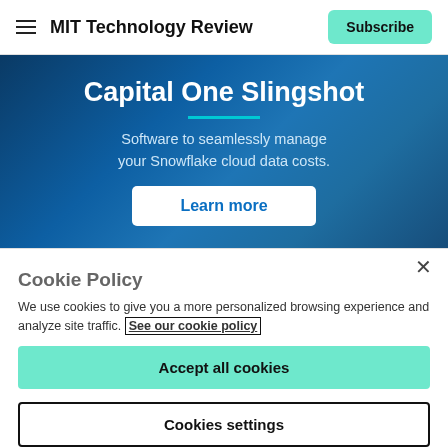MIT Technology Review | Subscribe
[Figure (illustration): Capital One Slingshot advertisement banner with dark blue gradient background. Title: 'Capital One Slingshot', subtitle: 'Software to seamlessly manage your Snowflake cloud data costs.', with a 'Learn more' button.]
× Cookie Policy We use cookies to give you a more personalized browsing experience and analyze site traffic. See our cookie policy
Accept all cookies
Cookies settings